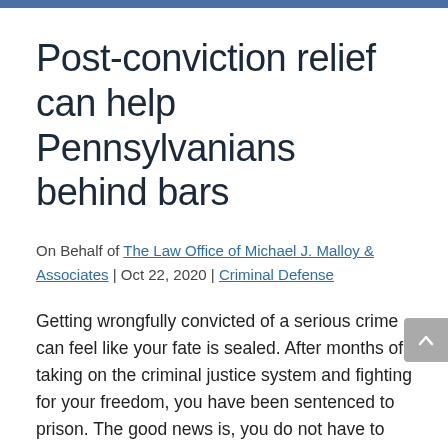Post-conviction relief can help Pennsylvanians behind bars
On Behalf of The Law Office of Michael J. Malloy & Associates | Oct 22, 2020 | Criminal Defense
Getting wrongfully convicted of a serious crime can feel like your fate is sealed. After months of taking on the criminal justice system and fighting for your freedom, you have been sentenced to prison. The good news is, you do not have to accept being wrongly convicted of a felony